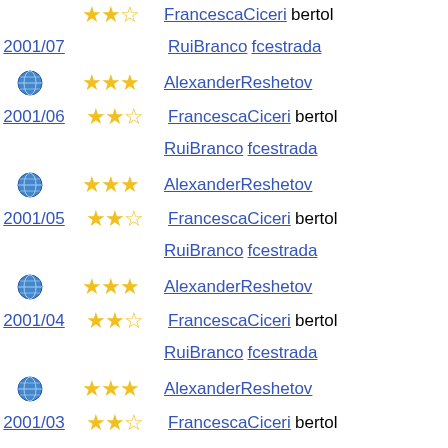2001/07 ★★☆ FrancescaCiceri bertol
RuiBranco fcestrada
🌐 ★★★ AlexanderReshetov
2001/06 ★★☆ FrancescaCiceri bertol
RuiBranco fcestrada
🌐 ★★★ AlexanderReshetov
2001/05 ★★☆ FrancescaCiceri bertol
RuiBranco fcestrada
🌐 ★★★ AlexanderReshetov
2001/04 ★★☆ FrancescaCiceri bertol
RuiBranco fcestrada
🌐 ★★★ AlexanderReshetov
2001/03 ★★☆ FrancescaCiceri bertol
RuiBranco fcestrada
🌐 ★★★ AlexanderReshetov
2001/02 ★★☆ FrancescaCiceri bertol
RuiBranco fcestrada
🌐 ★★★ AlexanderReshetov
2001/01 ★★☆ FrancescaCiceri bertol